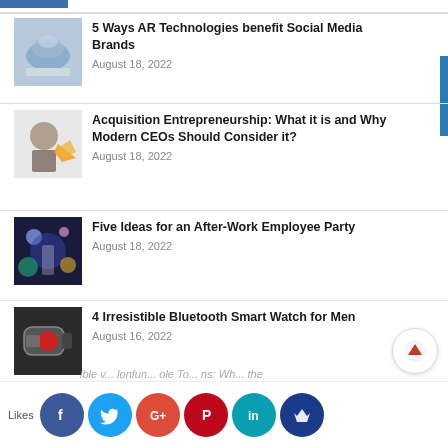5 Ways AR Technologies benefit Social Media Brands
August 18, 2022
Acquisition Entrepreneurship: What it is and Why Modern CEOs Should Consider it?
August 18, 2022
Five Ideas for an After-Work Employee Party
August 18, 2022
4 Irresistible Bluetooth Smart Watch for Men
August 16, 2022
How Can I Restore Collagen in my Face?
August 15, 2022